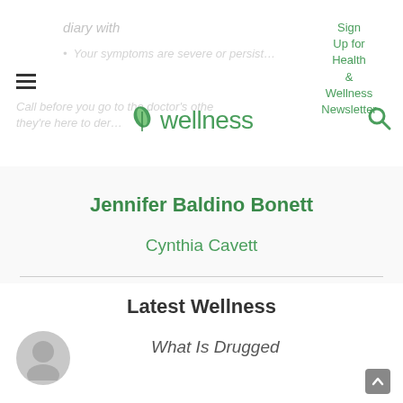[Figure (logo): Wellness website logo with green leaf and text 'wellness']
Sign Up for Health & Wellness Newsletter
Your symptoms are severe or persist
Call before you go to the doctor's office — they're here to direct you
Jennifer Baldino Bonett
Cynthia Cavett
Latest Wellness
What Is Drugged